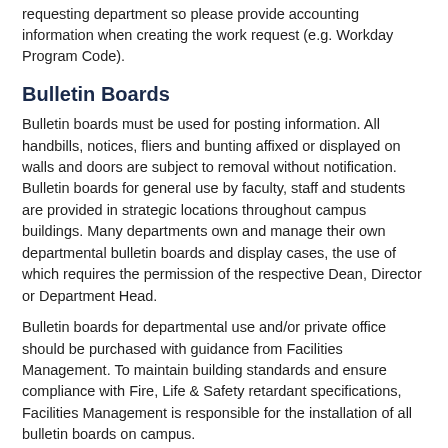requesting department so please provide accounting information when creating the work request (e.g. Workday Program Code).
Bulletin Boards
Bulletin boards must be used for posting information. All handbills, notices, fliers and bunting affixed or displayed on walls and doors are subject to removal without notification. Bulletin boards for general use by faculty, staff and students are provided in strategic locations throughout campus buildings. Many departments own and manage their own departmental bulletin boards and display cases, the use of which requires the permission of the respective Dean, Director or Department Head.
Bulletin boards for departmental use and/or private office should be purchased with guidance from Facilities Management. To maintain building standards and ensure compliance with Fire, Life & Safety retardant specifications, Facilities Management is responsible for the installation of all bulletin boards on campus.
Also refer to: